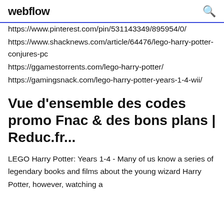webflow
https://www.pinterest.com/pin/531143349/895954/0/
https://www.shacknews.com/article/64476/lego-harry-potter-conjures-pc
https://ggamestorrents.com/lego-harry-potter/
https://gamingsnack.com/lego-harry-potter-years-1-4-wii/
Vue d'ensemble des codes promo Fnac & des bons plans | Reduc.fr...
LEGO Harry Potter: Years 1-4 - Many of us know a series of legendary books and films about the young wizard Harry Potter, however, watching a